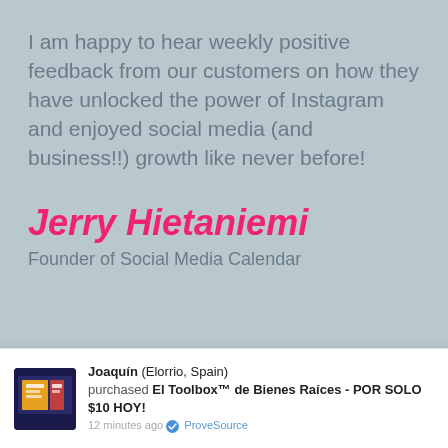I am happy to hear weekly positive feedback from our customers on how they have unlocked the power of Instagram and enjoyed social media (and business!!) growth like never before!
Jerry Hietaniemi
Founder of Social Media Calendar
Joaquín (Elorrio, Spain) purchased El Toolbox™ de Bienes Raíces - POR SOLO $10 HOY! 12 minutes ago ✓ ProveSource